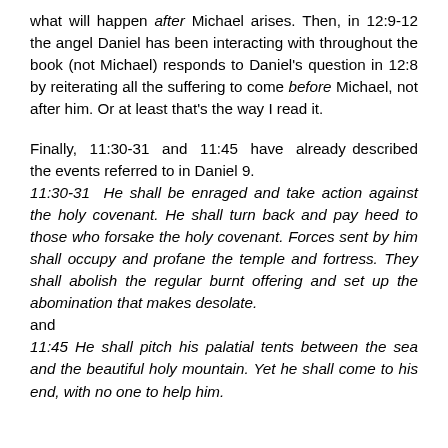what will happen after Michael arises. Then, in 12:9-12 the angel Daniel has been interacting with throughout the book (not Michael) responds to Daniel's question in 12:8 by reiterating all the suffering to come before Michael, not after him. Or at least that's the way I read it.
Finally, 11:30-31 and 11:45 have already described the events referred to in Daniel 9. 11:30-31 He shall be enraged and take action against the holy covenant. He shall turn back and pay heed to those who forsake the holy covenant. Forces sent by him shall occupy and profane the temple and fortress. They shall abolish the regular burnt offering and set up the abomination that makes desolate. and 11:45 He shall pitch his palatial tents between the sea and the beautiful holy mountain. Yet he shall come to his end, with no one to help him.